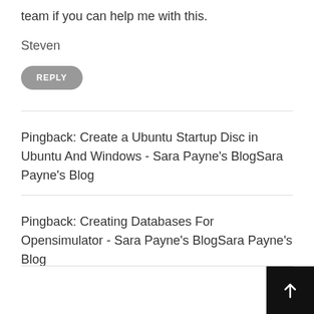team if you can help me with this.
Steven
REPLY
Pingback: Create a Ubuntu Startup Disc in Ubuntu And Windows - Sara Payne's BlogSara Payne's Blog
Pingback: Creating Databases For Opensimulator - Sara Payne's BlogSara Payne's Blog